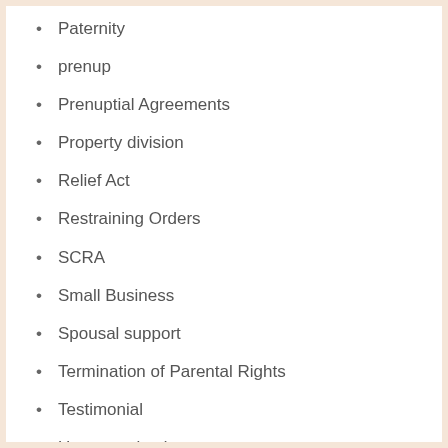Paternity
prenup
Prenuptial Agreements
Property division
Relief Act
Restraining Orders
SCRA
Small Business
Spousal support
Termination of Parental Rights
Testimonial
Uncategorized